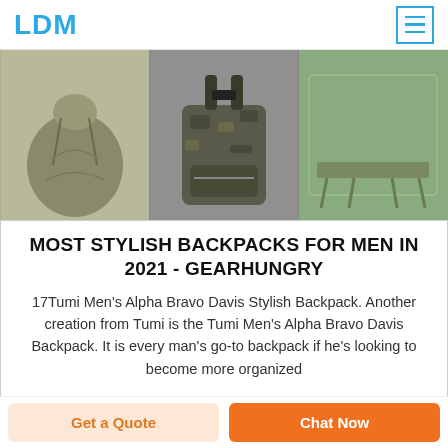LDM
[Figure (photo): Three product images: a green/olive drawstring backpack, a tactical/military-style backpack in camouflage, and a folding cot with mosquito net enclosure.]
MOST STYLISH BACKPACKS FOR MEN IN 2021 - GEARHUNGRY
17Tumi Men's Alpha Bravo Davis Stylish Backpack. Another creation from Tumi is the Tumi Men's Alpha Bravo Davis Backpack. It is every man's go-to backpack if he's looking to become more organized